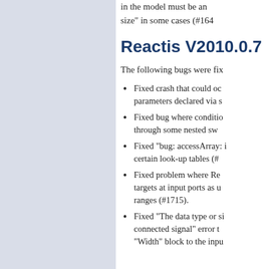in the model must be an... size" in some cases (#164...
Reactis V2010.0.7
The following bugs were fix...
Fixed crash that could oc... parameters declared via s...
Fixed bug where conditio... through some nested sw...
Fixed "bug: accessArray: i... certain look-up tables (#...
Fixed problem where Re... targets at input ports as u... ranges (#1715).
Fixed "The data type or si... connected signal" error t... "Width" block to the inpu...